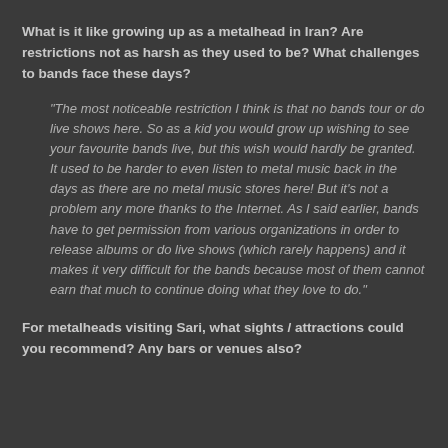What is it like growing up as a metalhead in Iran? Are restrictions not as harsh as they used to be? What challenges to bands face these days?
"The most noticeable restriction I think is that no bands tour or do live shows here. So as a kid you would grow up wishing to see your favourite bands live, but this wish would hardly be granted. It used to be harder to even listen to metal music back in the days as there are no metal music stores here! But it's not a problem any more thanks to the Internet. As I said earlier, bands have to get permission from various organizations in order to release albums or do live shows (which rarely happens) and it makes it very difficult for the bands because most of them cannot earn that much to continue doing what they love to do."
For metalheads visiting Sari, what sights / attractions could you recommend? Any bars or venues also?